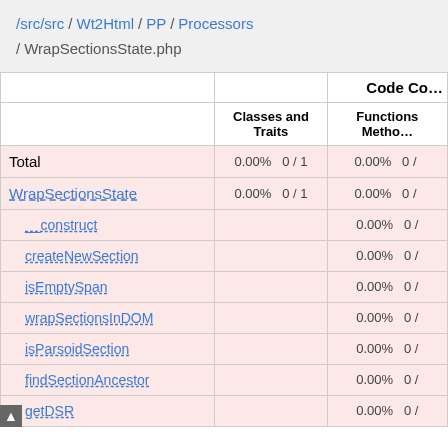/src/src / Wt2Html / PP / Processors / WrapSectionsState.php
|  | Classes and Traits | Functions Methods |
| --- | --- | --- |
| Total | 0.00% | 0 / 1 | 0.00% | 0 / |
| WrapSectionsState | 0.00% | 0 / 1 | 0.00% | 0 / |
| __construct |  |  | 0.00% | 0 / |
| createNewSection |  |  | 0.00% | 0 / |
| isEmptySpan |  |  | 0.00% | 0 / |
| wrapSectionsInDOM |  |  | 0.00% | 0 / |
| isParsoidSection |  |  | 0.00% | 0 / |
| findSectionAncestor |  |  | 0.00% | 0 / |
| getDSR |  |  | 0.00% | 0 / |